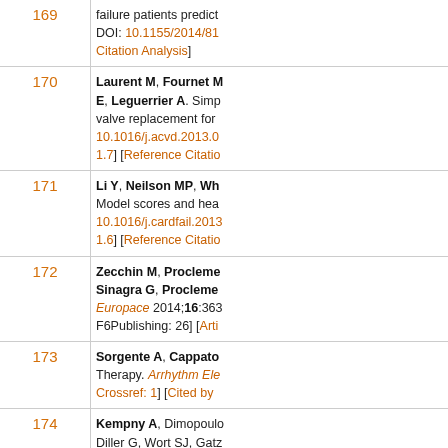| Number | Reference |
| --- | --- |
| 169 | failure patients predict DOI: 10.1155/2014/81 Citation Analysis] |
| 170 | Laurent M, Fournet M E, Leguerrier A. Simp valve replacement for 10.1016/j.acvd.2013.0 1.7] [Reference Citatio |
| 171 | Li Y, Neilson MP, Wh Model scores and hea 10.1016/j.cardfail.2013 1.6] [Reference Citatio |
| 172 | Zecchin M, Procleme Sinagra G, Procleme Europace 2014;16:363 F6Publishing: 26] [Arti |
| 173 | Sorgente A, Cappato Therapy. Arrhythm Ele Crossref: 1] [Cited by |
| 174 | Kempny A, Dimopoulo Diller G, Wort SJ, Gatz predict outcome in adu [DOI: 10.1016/j.ijcard |